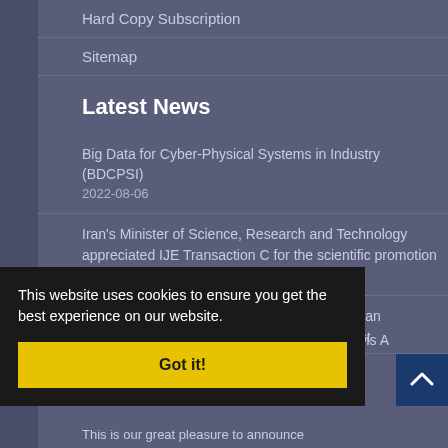Hard Copy Subscription
Sitemap
Latest News
Big Data for Cyber-Physical Systems in Industry (BDCPSI) 2022-08-06
Iran’s Minister of Science, Research and Technology appreciated IJE Transaction C for the scientific promotion 2022-07-30
With Deep Sadness and Condolences to Iranian Academic Scholars for losing eminent scientist
ctions A
3
This website uses cookies to ensure you get the best experience on our website.
Got it!
This is our great pleasure to announce